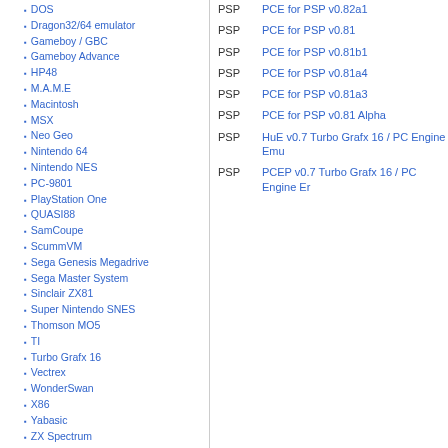DOS
Dragon32/64 emulator
Gameboy / GBC
Gameboy Advance
HP48
M.A.M.E
Macintosh
MSX
Neo Geo
Nintendo 64
Nintendo NES
PC-9801
PlayStation One
QUASI88
SamCoupe
ScummVM
Sega Genesis Megadrive
Sega Master System
Sinclair ZX81
Super Nintendo SNES
Thomson MO5
TI
Turbo Grafx 16
Vectrex
WonderSwan
X86
Yabasic
ZX Spectrum
Firmwares
Game-Addon-Packs
Hacks and Exploits
Homebrew Applications
General Apps
Media Apps
Organization Apps
Wi-Fi / IR Apps
Homebrew Games
Flash Games
General Games
LUA Games
Homebrew Packs
PSP  PCE for PSP v0.82a1
PSP  PCE for PSP v0.81
PSP  PCE for PSP v0.81b1
PSP  PCE for PSP v0.81a4
PSP  PCE for PSP v0.81a3
PSP  PCE for PSP v0.81 Alpha
PSP  HuE v0.7 Turbo Grafx 16 / PC Engine Emu
PSP  PCEP v0.7 Turbo Grafx 16 / PC Engine Er